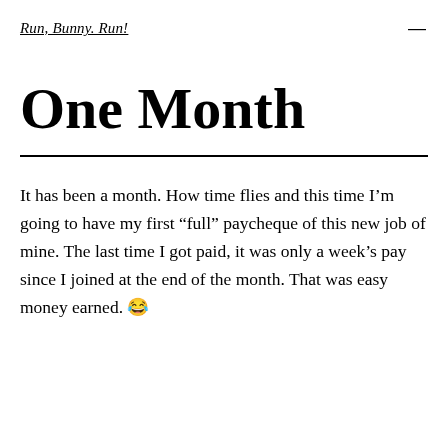Run, Bunny. Run!
One Month
It has been a month. How time flies and this time I'm going to have my first “full” paycheque of this new job of mine. The last time I got paid, it was only a week’s pay since I joined at the end of the month. That was easy money earned. 😂